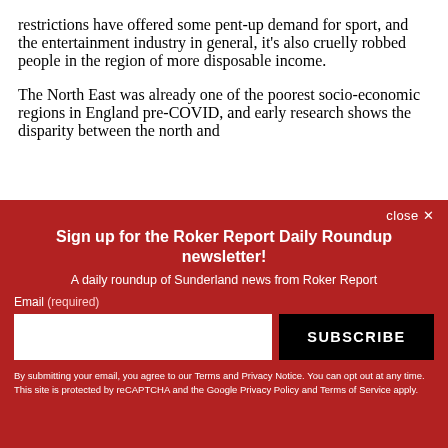restrictions have offered some pent-up demand for sport, and the entertainment industry in general, it's also cruelly robbed people in the region of more disposable income.
The North East was already one of the poorest socio-economic regions in England pre-COVID, and early research shows the disparity between the north and
[Figure (other): Newsletter signup overlay with red background. Title: 'Sign up for the Roker Report Daily Roundup newsletter!'. Subtitle: 'A daily roundup of Sunderland news from Roker Report'. Email input field and SUBSCRIBE button. Disclaimer text about Terms, Privacy Notice, reCAPTCHA, Google Privacy Policy and Terms of Service.]